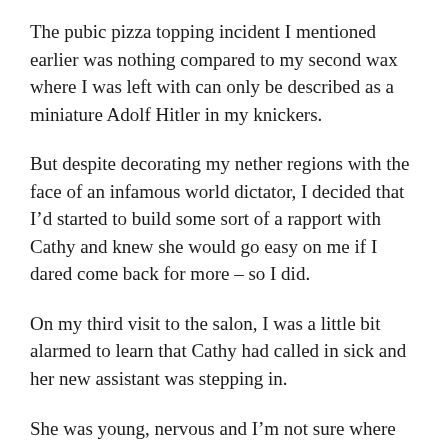The pubic pizza topping incident I mentioned earlier was nothing compared to my second wax where I was left with can only be described as a miniature Adolf Hitler in my knickers.
But despite decorating my nether regions with the face of an infamous world dictator, I decided that I'd started to build some sort of a rapport with Cathy and knew she would go easy on me if I dared come back for more – so I did.
On my third visit to the salon, I was a little bit alarmed to learn that Cathy had called in sick and her new assistant was stepping in.
She was young, nervous and I'm not sure where she was from but could barely speak a world of English – a potentially deadly combination when somebody is about to throw a burning hot